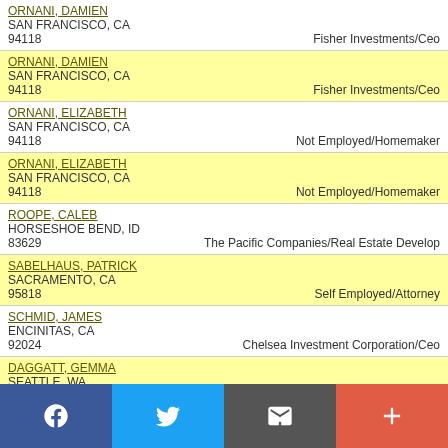| Name/Address | Employer/Occupation |
| --- | --- |
| ORNANI, DAMIEN
SAN FRANCISCO, CA
94118 | Fisher Investments/Ceo |
| ORNANI, DAMIEN
SAN FRANCISCO, CA
94118 | Fisher Investments/Ceo |
| ORNANI, ELIZABETH
SAN FRANCISCO, CA
94118 | Not Employed/Homemaker |
| ORNANI, ELIZABETH
SAN FRANCISCO, CA
94118 | Not Employed/Homemaker |
| ROOPE, CALEB
HORSESHOE BEND, ID
83629 | The Pacific Companies/Real Estate Develop |
| SABELHAUS, PATRICK
SACRAMENTO, CA
95818 | Self Employed/Attorney |
| SCHMID, JAMES
ENCINITAS, CA
92024 | Chelsea Investment Corporation/Ceo |
| DAGGATT, GEMMA
SEATTLE, WA
98103 | Self Employed/Project Manager |
Social share buttons: Facebook, Twitter, Email, Plus